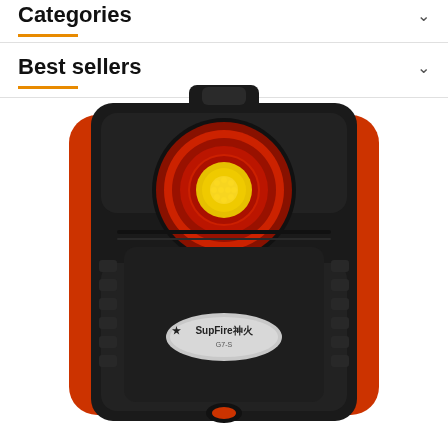Best sellers
[Figure (photo): SupFire brand flashlight / work light, black and red body with yellow COB LED, viewed from front, rectangular ruggedized design with orange accent stripe on sides, silver oval label showing SupFire logo and Chinese characters]